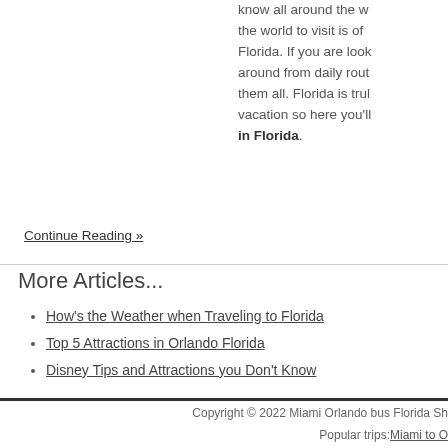know all around the world to visit is of Florida. If you are looking around from daily routines them all. Florida is truly vacation so here you'll in Florida.
Continue Reading »
More Articles...
How's the Weather when Traveling to Florida
Top 5 Attractions in Orlando Florida
Disney Tips and Attractions you Don't Know
Copyright © 2022 Miami Orlando bus Florida Sh Popular trips: Miami to O